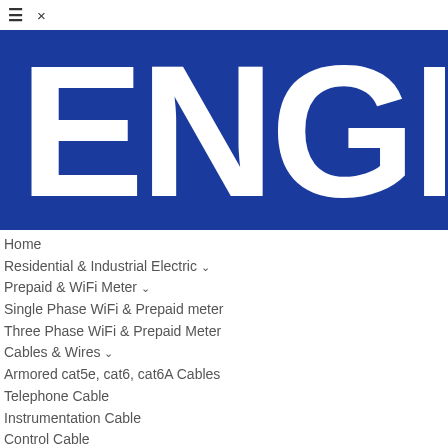≡ ×
[Figure (logo): ENGER logo — large white bold text 'ENGE' (partially cropped, showing 'ENGER') on a dark blue background]
Home
Residential & Industrial Electric ∨
Prepaid & WiFi Meter ∨
Single Phase WiFi & Prepaid meter
Three Phase WiFi & Prepaid Meter
Cables & Wires ∨
Armored cat5e, cat6, cat6A Cables
Telephone Cable
Instrumentation Cable
Control Cable
Downhole Sensor Cables
Cable Accessories ∨